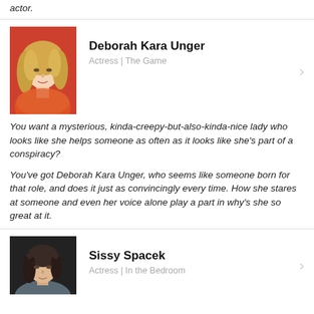actor.
[Figure (photo): Photo of Deborah Kara Unger, a woman with long curly blonde hair wearing a red/orange top against a red background]
Deborah Kara Unger
Actress | The Game
You want a mysterious, kinda-creepy-but-also-kinda-nice lady who looks like she helps someone as often as it looks like she's part of a conspiracy?

You've got Deborah Kara Unger, who seems like someone born for that role, and does it just as convincingly every time. How she stares at someone and even her voice alone play a part in why's she so great at it.
[Figure (photo): Photo of Sissy Spacek, a woman with dark hair wearing a grey jacket against a dark background]
Sissy Spacek
Actress | In the Bedroom